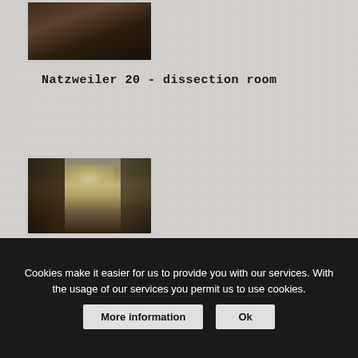[Figure (photo): Photograph of interior room – dark, appears to be a dissection room at Natzweiler concentration camp]
Natzweiler 20 - dissection room
[Figure (photo): Photograph of a corridor with dark walls and wooden doors, light coming from a window at the end]
Cookies make it easier for us to provide you with our services. With the usage of our services you permit us to use cookies.
More information  Ok